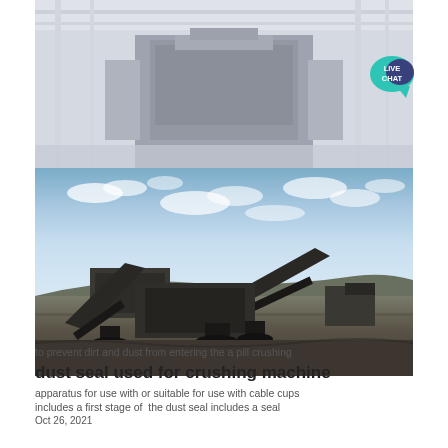[Figure (photo): Industrial factory interior with heavy machinery, overhead crane structures, and equipment visible in a large warehouse-like space. Faded/washed out appearance.]
[Figure (photo): Outdoor mining/quarrying crushing machine with conveyor belts angled upward against a blue sky with scattered clouds. Industrial crusher equipment on rough terrain.]
to prevent dirt and dust from entering the a pill crushing
dust seal used for crushing machine
apparatus for use with or suitable for use with cable cups includes a first stage of  the dust seal includes a seal
Oct 26, 2021